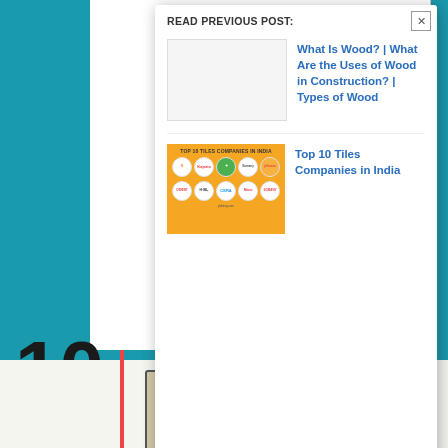READ PREVIOUS POST:
[Figure (illustration): Blank white thumbnail placeholder for previous post image]
What Is Wood? | What Are the Uses of Wood in Construction? | Types of Wood
[Figure (illustration): Top 10 Tiles Companies in India - orange background with 10 circular brand logos in two rows: Simpolo, Kajaria, Nitco, Somany, Johnson tiles (top row), Orient, H&R, CERA, Nitco, Somany (bottom row)]
Top 10 Tiles Companies in India